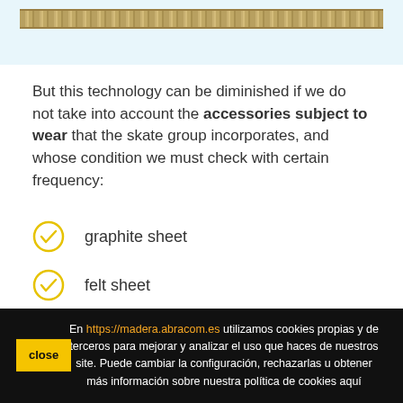[Figure (illustration): Top portion of a decorative ruler or track strip element on a light blue background, showing a wooden/brown textured horizontal bar.]
But this technology can be diminished if we do not take into account the accessories subject to wear that the skate group incorporates, and whose condition we must check with certain frequency:
graphite sheet
felt sheet
En https://madera.abracom.es utilizamos cookies propias y de terceros para mejorar y analizar el uso que haces de nuestros site. Puede cambiar la configuración, rechazarlas u obtener más información sobre nuestra política de cookies aquí